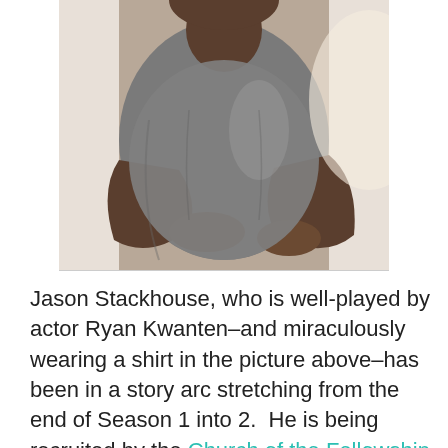[Figure (photo): A man with dark skin wearing a grey t-shirt, arms crossed, photographed from the chest up against a light background.]
Jason Stackhouse, who is well-played by actor Ryan Kwanten–and miraculously wearing a shirt in the picture above–has been in a story arc stretching from the end of Season 1 into 2.  He is being recruited by the Church of the Fellowship of the Sun, a vampire-hating group of Christian Bible-thumpers.  Not too covertly, since the first